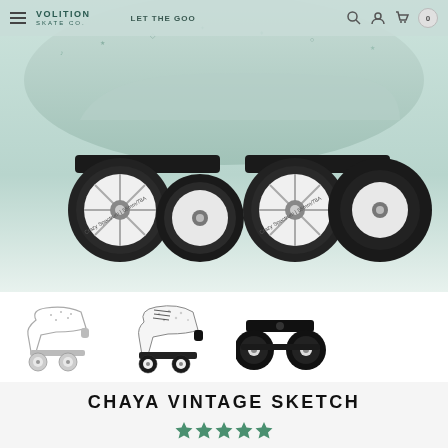VOLITION SKATE CO. — LET THE GOO
[Figure (photo): Close-up of roller skate wheels and trucks on a mint/sage green boot with illustrated sketch pattern, showing four black wheels with white spoked hubs]
[Figure (photo): Three thumbnail images: 1) full roller skate in sketch/doodle style, light gray, 2) full roller skate dark-laced white boot with sketch pattern, 3) close-up of black skate trucks and wheels]
CHAYA VINTAGE SKETCH
[Figure (other): Five green star rating icons]